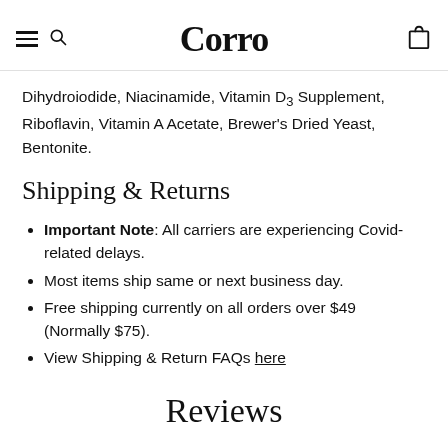Corro
Dihydroiodide, Niacinamide, Vitamin D3 Supplement, Riboflavin, Vitamin A Acetate, Brewer's Dried Yeast, Bentonite.
Shipping & Returns
Important Note: All carriers are experiencing Covid-related delays.
Most items ship same or next business day.
Free shipping currently on all orders over $49 (Normally $75).
View Shipping & Return FAQs here
Reviews